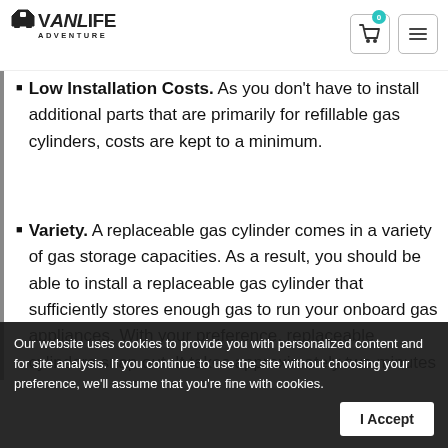VanLife Adventure — website header with logo, cart button (0 items), and menu button
Low Installation Costs. As you don't have to install additional parts that are primarily for refillable gas cylinders, costs are kept to a minimum.
Variety. A replaceable gas cylinder comes in a variety of gas storage capacities. As a result, you should be able to install a replaceable gas cylinder that sufficiently stores enough gas to run your onboard gas appliances. With your preference, replaceable cylinders snap out. It takes approximately two minutes to swap out a replaceable gas cylinder tank.
Our website uses cookies to provide you with personalized content and for site analysis. If you continue to use the site without choosing your preference, we'll assume that you're fine with cookies.